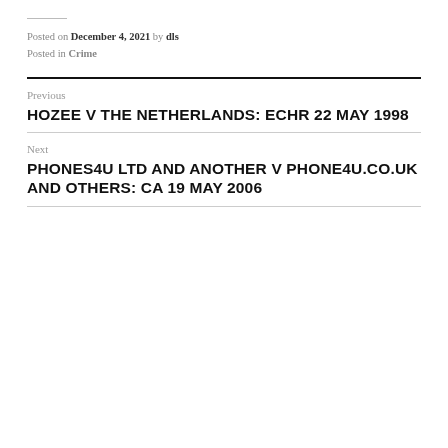Posted on December 4, 2021 by dls
Posted in Crime
Previous
HOZEE V THE NETHERLANDS: ECHR 22 MAY 1998
Next
PHONES4U LTD AND ANOTHER V PHONE4U.CO.UK AND OTHERS: CA 19 MAY 2006